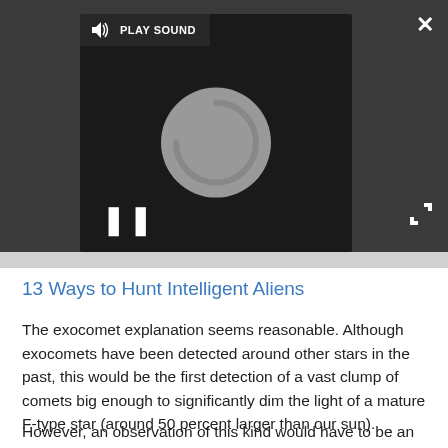[Figure (screenshot): Video player with dark background, loading spinner, pause icon, play sound button, close button, and expand button]
13 Ways to Hunt Intelligent Aliens
The exocomet explanation seems reasonable. Although exocomets have been detected around other stars in the past, this would be the first detection of a vast clump of comets big enough to significantly dim the light of a mature F-type star (around 50 percent larger than our sun).
However, an observation of this kind would have to be an incredible stroke of luck; for us to have a NASA